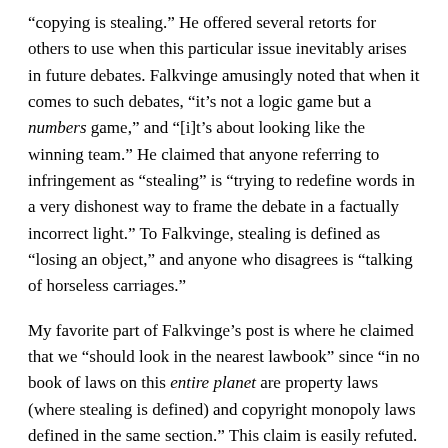“copying is stealing.” He offered several retorts for others to use when this particular issue inevitably arises in future debates. Falkvinge amusingly noted that when it comes to such debates, “it’s not a logic game but a numbers game,” and “[i]t’s about looking like the winning team.” He claimed that anyone referring to infringement as “stealing” is “trying to redefine words in a very dishonest way to frame the debate in a factually incorrect light.” To Falkvinge, stealing is defined as “losing an object,” and anyone who disagrees is “talking of horseless carriages.”
My favorite part of Falkvinge’s post is where he claimed that we “should look in the nearest lawbook” since “in no book of laws on this entire planet are property laws (where stealing is defined) and copyright monopoly laws defined in the same section.” This claim is easily refuted. For example, Section 2319 of the U.S. Code, which defines “Criminal infringement of a copyright,” is found in Chapter 113 of Title 18, which is entitled “Stolen Property.” Section 3931 of the